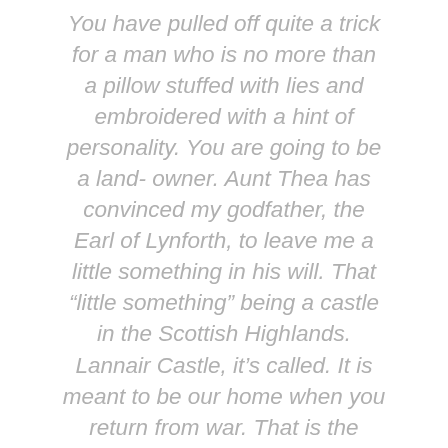You have pulled off quite a trick for a man who is no more than a pillow stuffed with lies and embroidered with a hint of personality. You are going to be a land- owner. Aunt Thea has convinced my godfather, the Earl of Lynforth, to leave me a little something in his will. That “little something” being a castle in the Scottish Highlands. Lannair Castle, it’s called. It is meant to be our home when you return from war. That is the perfect ending to this masterpiece of absurdity, isn’t it?